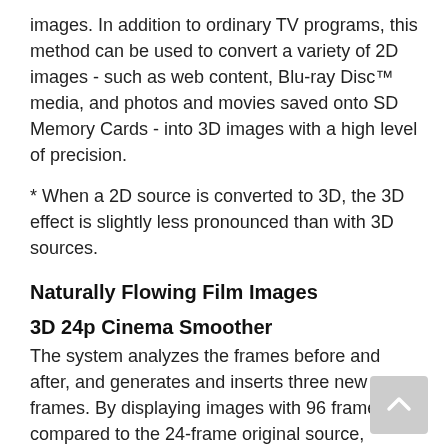images. In addition to ordinary TV programs, this method can be used to convert a variety of 2D images - such as web content, Blu-ray Disc™ media, and photos and movies saved onto SD Memory Cards - into 3D images with a high level of precision.
* When a 2D source is converted to 3D, the 3D effect is slightly less pronounced than with 3D sources.
Naturally Flowing Film Images
3D 24p Cinema Smoother
The system analyzes the frames before and after, and generates and inserts three new frames. By displaying images with 96 frames compared to the 24-frame original source, smooth images are produced without the blurring that is typical of movies.